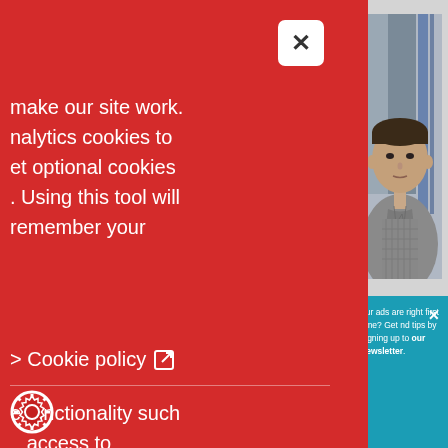[Figure (screenshot): A screenshot of a website showing a cookie consent modal overlay (red background) on the left side, with a professional headshot photo of a man in a checked shirt visible on the right, and a teal/blue newsletter signup banner at the bottom right.]
make our site work. nalytics cookies to et optional cookies . Using this tool will remember your
Cookie policy
e functionality such access to hese cookies this will
challenge by extending its online f complaints it investigates on behalf
our ads are right first time? Get nd tips by signing up to our newsletter.